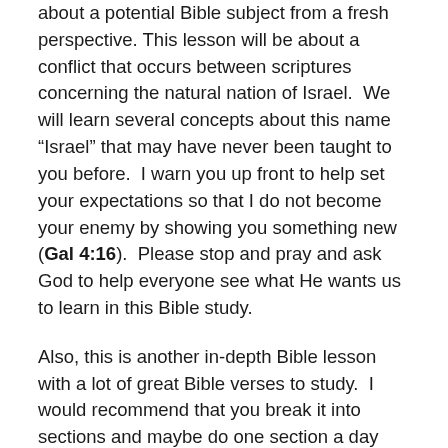about a potential Bible subject from a fresh perspective. This lesson will be about a conflict that occurs between scriptures concerning the natural nation of Israel. We will learn several concepts about this name “Israel” that may have never been taught to you before. I warn you up front to help set your expectations so that I do not become your enemy by showing you something new (Gal 4:16). Please stop and pray and ask God to help everyone see what He wants us to learn in this Bible study.
Also, this is another in-depth Bible lesson with a lot of great Bible verses to study. I would recommend that you break it into sections and maybe do one section a day and this will spread it out over a period of time and hopefully not overwhelm anyone with too much new information at once. I give a lot of Bible verse references and I do not address them each in detail. Therefore, it would be highly